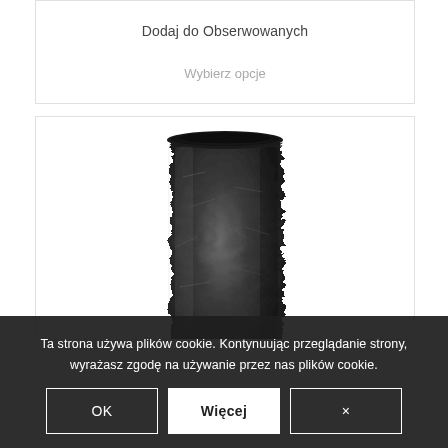Dodaj do Obserwowanych
Wybierz opcje
[Figure (photo): A dark charcoal/black textured ceramic vase with a rough, stone-like surface and a slightly darker rim at the top, photographed on a white background.]
Ta strona używa plików cookie. Kontynuując przeglądanie strony, wyrażasz zgodę na używanie przez nas plików cookie.
OK
Więcej
×